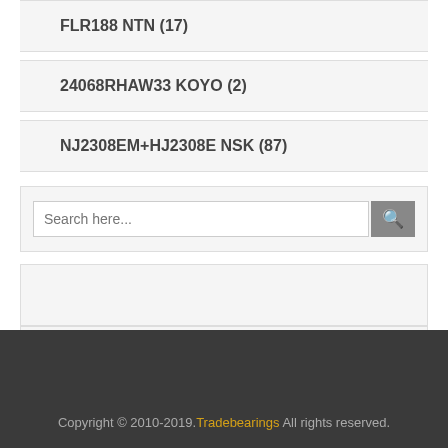FLR188 NTN (17)
24068RHAW33 KOYO (2)
NJ2308EM+HJ2308E NSK (87)
Search here...
Print this Page
Copyright © 2010-2019. Tradebearings All rights reserved.